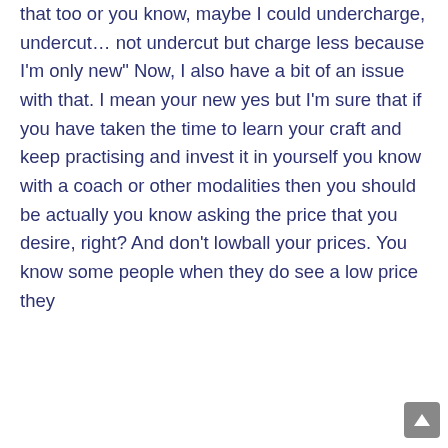that too or you know, maybe I could undercharge, undercut… not undercut but charge less because I'm only new" Now, I also have a bit of an issue with that. I mean your new yes but I'm sure that if you have taken the time to learn your craft and keep practising and invest it in yourself you know with a coach or other modalities then you should be actually you know asking the price that you desire, right? And don't lowball your prices. You know some people when they do see a low price they